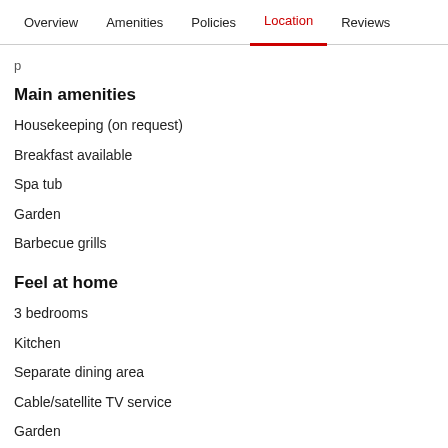Overview   Amenities   Policies   Location   Reviews
Main amenities
Housekeeping (on request)
Breakfast available
Spa tub
Garden
Barbecue grills
Feel at home
3 bedrooms
Kitchen
Separate dining area
Cable/satellite TV service
Garden
Patio